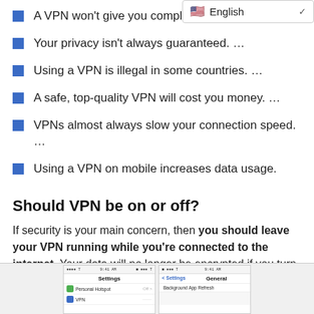A VPN won't give you complete anonymity. …
Your privacy isn't always guaranteed. …
Using a VPN is illegal in some countries. …
A safe, top-quality VPN will cost you money. …
VPNs almost always slow your connection speed. …
Using a VPN on mobile increases data usage.
Should VPN be on or off?
If security is your main concern, then you should leave your VPN running while you're connected to the internet. Your data will no longer be encrypted if you turn it off, and the sites you visit will see your real IP location.
[Figure (screenshot): Two mobile phone screenshots showing iOS Settings screens: one with Personal Hotspot and VPN settings, another with Settings > General and Background App Refresh.]